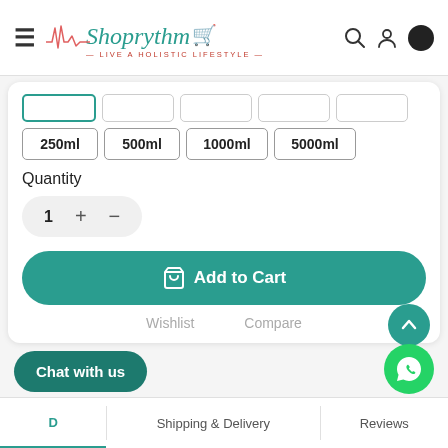[Figure (logo): Shoprythm logo with ECG line, shopping cart icon, and tagline 'LIVE A HOLISTIC LIFESTYLE']
[Figure (screenshot): Product size selector buttons: selected button (outlined teal), 250ml, 500ml, 1000ml, 5000ml, and additional empty buttons]
Quantity
1  +  −
Add to Cart
Wishlist
Compare
Chat with us
Shipping & Delivery
Reviews